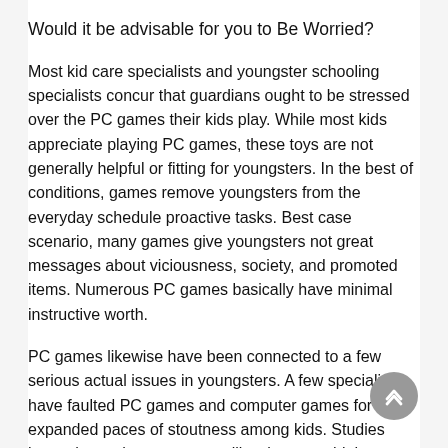Would it be advisable for you to Be Worried?
Most kid care specialists and youngster schooling specialists concur that guardians ought to be stressed over the PC games their kids play. While most kids appreciate playing PC games, these toys are not generally helpful or fitting for youngsters. In the best of conditions, games remove youngsters from the everyday schedule proactive tasks. Best case scenario, many games give youngsters not great messages about viciousness, society, and promoted items. Numerous PC games basically have minimal instructive worth.
PC games likewise have been connected to a few serious actual issues in youngsters. A few specialists have faulted PC games and computer games for expanded paces of stoutness among kids. Studies have shown that youngsters likewise run a high gamble of tedious strain injury (RSI)